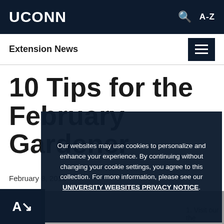UCONN
Extension News
10 Tips for the February Gardener
February 8, 2016
Our websites may use cookies to personalize and enhance your experience. By continuing without changing your cookie settings, you agree to this collection. For more information, please see our UNIVERSITY WEBSITES PRIVACY NOTICE.
1. Visit our the